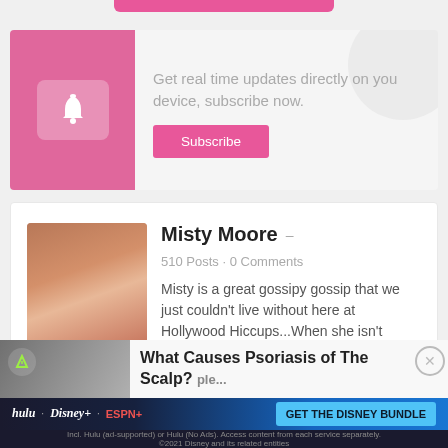[Figure (other): Pink rounded rectangle button/strip at top of page]
[Figure (other): Subscribe notification card with pink bell icon on left, text and Subscribe button on right]
Get real time updates directly on you device, subscribe now.
Subscribe
[Figure (photo): Author card with photo of red-haired woman with hand near ear]
Misty Moore
510 Posts  ·  0 Comments
Misty is a great gossipy gossip that we just couldn't live without here at Hollywood Hiccups...When she isn't spreading the news of Reality TV here, especially Big
[Figure (other): Advertisement overlay: What Causes Psoriasis of The Scalp? with Disney Bundle banner ad at bottom]